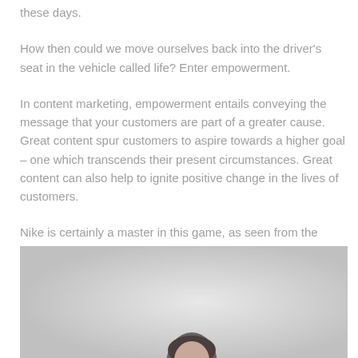these days.
How then could we move ourselves back into the driver's seat in the vehicle called life? Enter empowerment.
In content marketing, empowerment entails conveying the message that your customers are part of a greater cause. Great content spur customers to aspire towards a higher goal – one which transcends their present circumstances. Great content can also help to ignite positive change in the lives of customers.
Nike is certainly a master in this game, as seen from the advertisement below.
[Figure (photo): A photograph showing a person (partial view, head and upper body) against a light grey gradient background, appearing to be part of a Nike advertisement.]